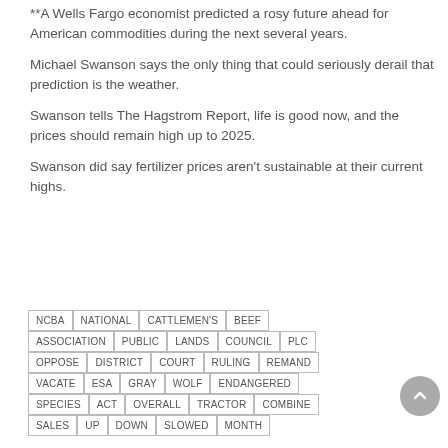**A Wells Fargo economist predicted a rosy future ahead for American commodities during the next several years.
Michael Swanson says the only thing that could seriously derail that prediction is the weather.
Swanson tells The Hagstrom Report, life is good now, and the prices should remain high up to 2025.
Swanson did say fertilizer prices aren't sustainable at their current highs.
NCBA
NATIONAL
CATTLEMEN'S
BEEF
ASSOCIATION
PUBLIC
LANDS
COUNCIL
PLC
OPPOSE
DISTRICT
COURT
RULING
REMAND
VACATE
ESA
GRAY
WOLF
ENDANGERED
SPECIES
ACT
OVERALL
TRACTOR
COMBINE
SALES
UP
DOWN
SLOWED
MONTH